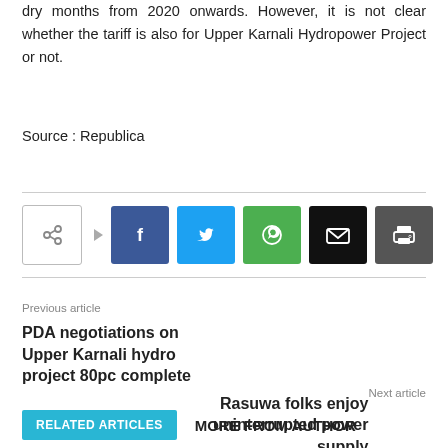dry months from 2020 onwards. However, it is not clear whether the tariff is also for Upper Karnali Hydropower Project or not.
Source : Republica
[Figure (infographic): Social share buttons row: share icon box with arrow, Facebook (blue), Twitter (cyan), WhatsApp (green), Email (black), Print (dark gray)]
Previous article
PDA negotiations on Upper Karnali hydro project 80pc complete
Next article
Rasuwa folks enjoy uninterrupted power supply
RELATED ARTICLES   MORE FROM AUTHOR